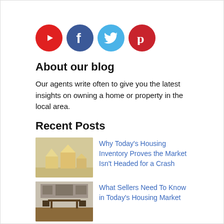[Figure (other): Row of four social media icons: YouTube (red circle), Facebook (dark blue circle), Twitter (light blue circle), Pinterest (red circle)]
About our blog
Our agents write often to give you the latest insights on owning a home or property in the local area.
Recent Posts
[Figure (photo): Small wooden house models on a surface - housing inventory blog post thumbnail]
Why Today's Housing Inventory Proves the Market Isn't Headed for a Crash
[Figure (photo): Interior dining room with table and chairs - sellers blog post thumbnail]
What Sellers Need To Know in Today's Housing Market
[Figure (photo): Two people standing in a bright white room - buying a home blog post thumbnail]
3 Tips for Buying a Home Today